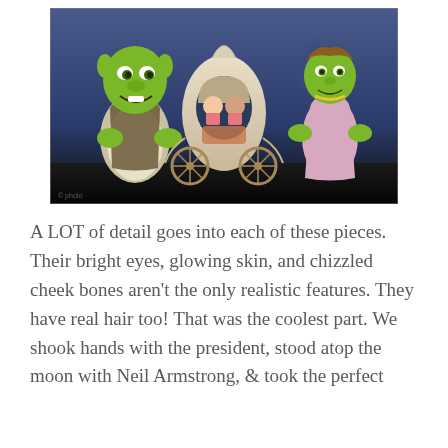[Figure (photo): Photo of Shrek and Fiona wax figures (or costumed characters) at what appears to be a Madame Tussauds or theme park attraction. Shrek stands on the left, green ogre with large ears and a vest. In the center is a large onion-shaped carriage with two young girls sitting inside. Fiona stands on the right in a pink dress. The background shows a fantasy castle scene.]
A LOT of detail goes into each of these pieces. Their bright eyes, glowing skin, and chizzled cheek bones aren't the only realistic features. They have real hair too! That was the coolest part. We shook hands with the president, stood atop the moon with Neil Armstrong, & took the perfect